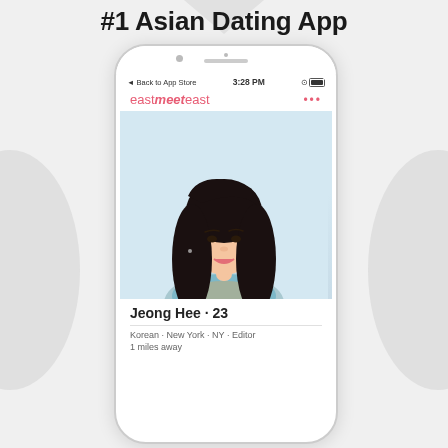#1 Asian Dating App
[Figure (screenshot): Screenshot of the eastmeeteast dating app showing a profile for 'Jeong Hee · 23', Korean · New York · NY · Editor, 1 miles away. The app screen shows a status bar with '◄ Back to App Store' and '3:28 PM', the eastmeeteast logo, a profile photo of a young Asian woman with long dark hair, and profile details below.]